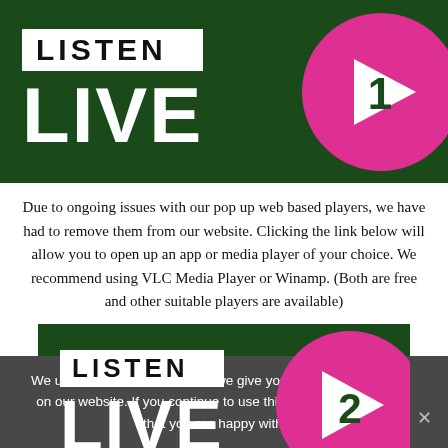[Figure (illustration): Listen Live 1 banner: dark green background with white LISTEN text box and large white LIVE text, pink circle with play button and number 1]
Due to ongoing issues with our pop up web based players, we have had to remove them from our website. Clicking the link below will allow you to open up an app or media player of your choice. We recommend using VLC Media Player or Winamp. (Both are free and other suitable players are available)
[Figure (illustration): Listen Live 2 banner: dark green background with white LISTEN text box and large white LIVE text, pink circle with play button and number 2]
We use cookies to ensure that we give you the best experience on our website. If you continue to use this site we will assume that you are happy with it.